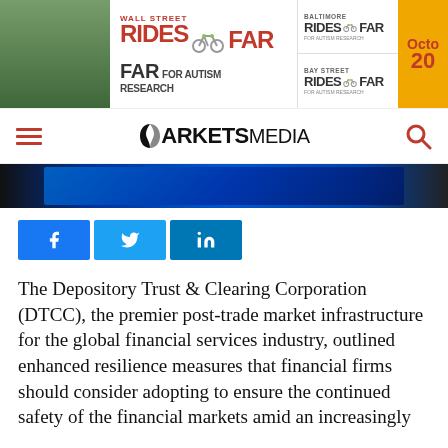[Figure (illustration): Banner advertisement for Wall Street Rides FAR for Autism Research, Baltimore Rides FAR, Bay Street Rides FAR — October 20 event promotional banner]
[Figure (logo): Markets Media logo with hamburger menu and search icon navigation bar]
[Figure (photo): Partial hero image showing financial data/market screens with blue digital background]
[Figure (illustration): Social media sharing buttons: Facebook, Twitter, LinkedIn]
The Depository Trust & Clearing Corporation (DTCC), the premier post-trade market infrastructure for the global financial services industry, outlined enhanced resilience measures that financial firms should consider adopting to ensure the continued safety of the financial markets amid an increasingly